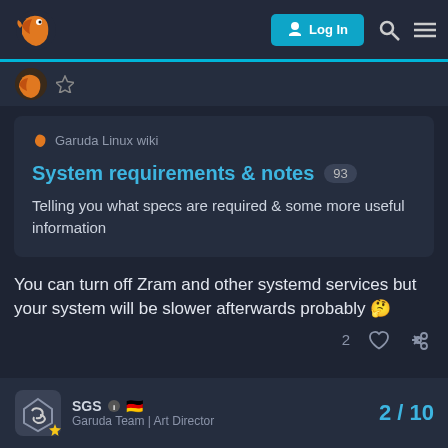Log In
[Figure (screenshot): Garuda Linux wiki card showing 'System requirements & notes' with count 93 and description 'Telling you what specs are required & some more useful information']
You can turn off Zram and other systemd services but your system will be slower afterwards probably 🤔
SGS - Garuda Team | Art Director  2 / 10